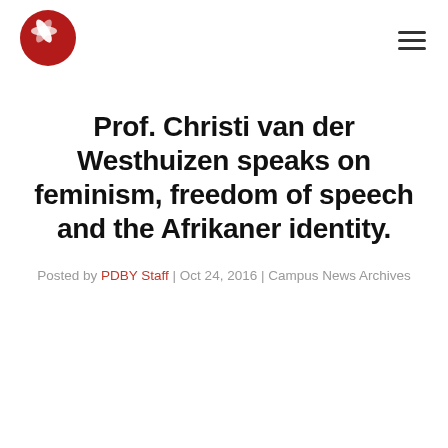PDBY logo and navigation menu
Prof. Christi van der Westhuizen speaks on feminism, freedom of speech and the Afrikaner identity.
Posted by PDBY Staff | Oct 24, 2016 | Campus News Archives